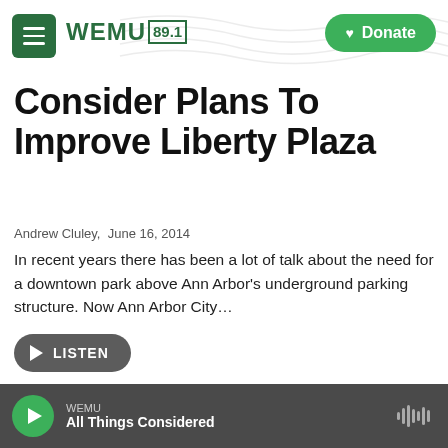WEMU 89.1 — Donate
Consider Plans To Improve Liberty Plaza
Andrew Cluley,  June 16, 2014
In recent years there has been a lot of talk about the need for a downtown park above Ann Arbor's underground parking structure. Now Ann Arbor City…
[Figure (other): LISTEN audio play button]
[Figure (photo): Photo of a building with brick exterior and blue sign, partially visible]
WEMU — All Things Considered